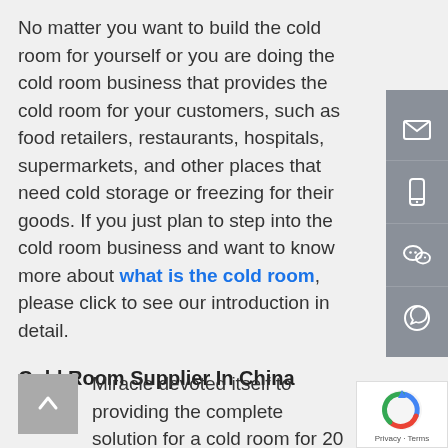No matter you want to build the cold room for yourself or you are doing the cold room business that provides the cold room for your customers, such as food retailers, restaurants, hospitals, supermarkets, and other places that need cold storage or freezing for their goods. If you just plan to step into the cold room business and want to know more about what is the cold room, please click to see our introduction in detail.
Cold Room Supplier In China
Miracle devoted itself to providing the complete solution for a cold room for 20 years. As the cold room supplier,
[Figure (other): Grey sidebar with contact icons: email envelope, mobile phone, WeChat, WhatsApp]
[Figure (other): reCAPTCHA badge with Privacy and Terms links]